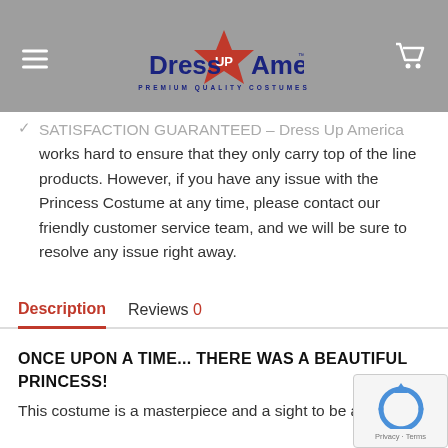[Figure (logo): Dress Up America logo with red star, navy blue text reading 'Dress UP America', tagline 'PREMIUM QUALITY COSTUMES', on a gray header bar with hamburger menu icon on left and cart icon on right]
SATISFACTION GUARANTEED – Dress Up America works hard to ensure that they only carry top of the line products. However, if you have any issue with the Princess Costume at any time, please contact our friendly customer service team, and we will be sure to resolve any issue right away.
Description   Reviews 0
ONCE UPON A TIME... THERE WAS A BEAUTIFUL PRINCESS! This costume is a masterpiece and a sight to be adored!